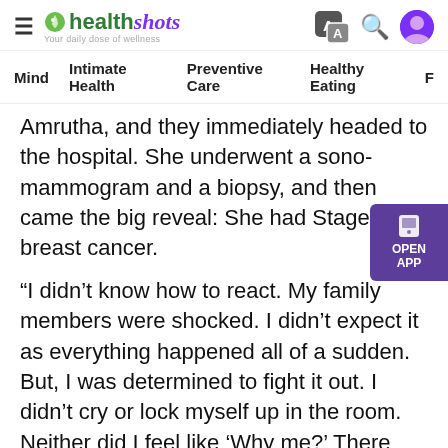healthshots — Your daily dose of wellness
Mind | Intimate Health | Preventive Care | Healthy Eating | F
Amrutha, and they immediately headed to the hospital. She underwent a sono-mammogram and a biopsy, and then came the big reveal: She had Stage 2 breast cancer.
“I didn’t know how to react. My family members were shocked. I didn’t expect it as everything happened all of a sudden. But, I was determined to fight it out. I didn’t cry or lock myself up in the room. Neither did I feel like ‘Why me?’ There was no